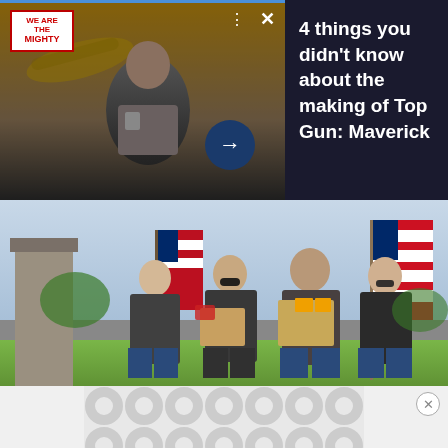[Figure (photo): Top Gun Maverick movie promotional image showing pilot in flight gear with aircraft in background, dark overlay, with We Are The Mighty logo badge, close and menu buttons, right arrow button, and article text]
4 things you didn't know about the making of Top Gun: Maverick
[Figure (photo): Group of veterans in motorcycle club vests carrying boxes and American flags at an outdoor ceremony]
5 honorable ways veterans pay respect to the fallen
[Figure (other): Advertisement banner at bottom of page with decorative circular pattern background]